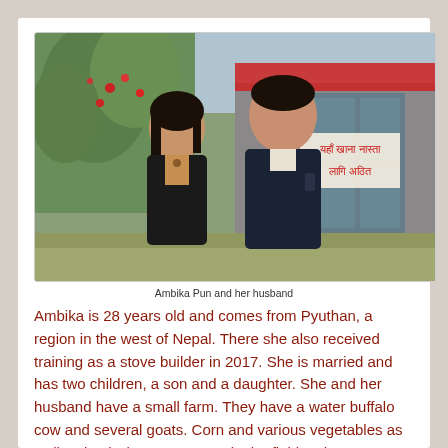[Figure (photo): A woman and a man standing together in front of a building with Nepali text signs. Green trees with red flowers visible in background. Both wearing dark jackets.]
Ambika Pun and her husband
Ambika is 28 years old and comes from Pyuthan, a region in the west of Nepal. There she also received training as a stove builder in 2017. She is married and has two children, a son and a daughter. She and her husband have a small farm. They have a water buffalo cow and several goats. Corn and various vegetables as well as buckwheat are grown in the fields. They can make ends meet and have enough to